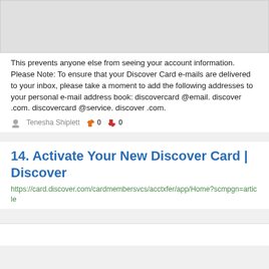[Figure (other): Gray placeholder image block at top of page]
This prevents anyone else from seeing your account information. Please Note: To ensure that your Discover Card e-mails are delivered to your inbox, please take a moment to add the following addresses to your personal e-mail address book: discovercard @email. discover .com. discovercard @service. discover .com.
Tenesha Shiplett  👍 0  👎 0
14. Activate Your New Discover Card | Discover
https://card.discover.com/cardmembersvcs/acctxfer/app/Home?scmpgn=article